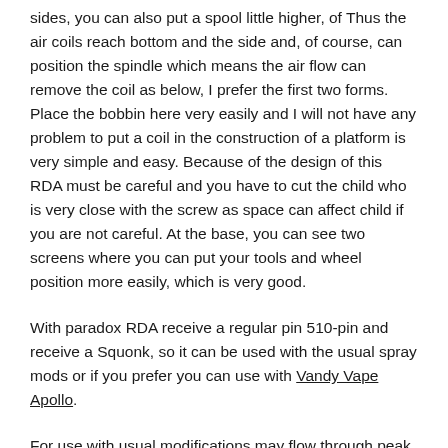sides, you can also put a spool little higher, of Thus the air coils reach bottom and the side and, of course, can position the spindle which means the air flow can remove the coil as below, I prefer the first two forms. Place the bobbin here very easily and I will not have any problem to put a coil in the construction of a platform is very simple and easy. Because of the design of this RDA must be careful and you have to cut the child who is very close with the screw as space can affect child if you are not careful. At the base, you can see two screens where you can put your tools and wheel position more easily, which is very good.
With paradox RDA receive a regular pin 510-pin and receive a Squonk, so it can be used with the usual spray mods or if you prefer you can use with Vandy Vape Apollo.
For use with usual modifications may flow through peak and drops because the coil is placed right in the middle